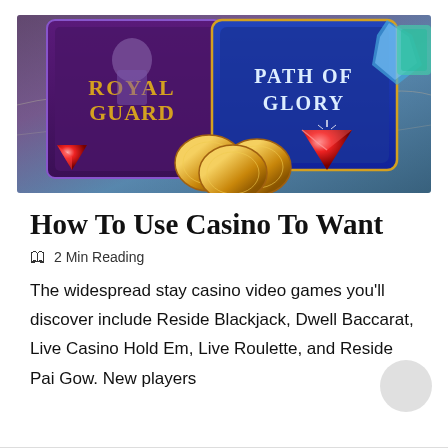[Figure (illustration): Fantasy casino game banner showing 'Royal Guard' and 'Path of Glory' game covers with gold coins and red gems on a map background]
How To Use Casino To Want
🕮  2 Min Reading
The widespread stay casino video games you'll discover include Reside Blackjack, Dwell Baccarat, Live Casino Hold Em, Live Roulette, and Reside Pai Gow. New players